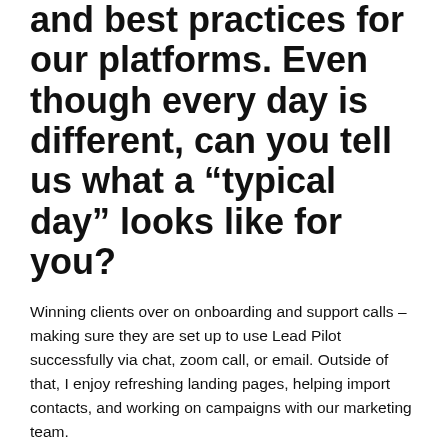and best practices for our platforms. Even though every day is different, can you tell us what a “typical day” looks like for you?
Winning clients over on onboarding and support calls – making sure they are set up to use Lead Pilot successfully via chat, zoom call, or email. Outside of that, I enjoy refreshing landing pages, helping import contacts, and working on campaigns with our marketing team.
Let’s talk success stories. Do